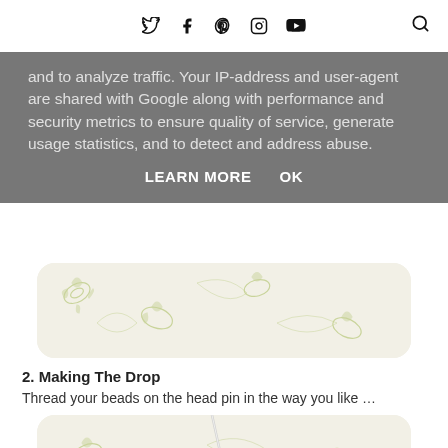Twitter Facebook Pinterest Instagram YouTube [search]
and to analyze traffic. Your IP-address and user-agent are shared with Google along with performance and security metrics to ensure quality of service, generate usage statistics, and to detect and address abuse.
LEARN MORE    OK
[Figure (photo): Close-up of floral patterned fabric with white and light green motifs, partially visible, with rounded corners]
2. Making The Drop
Thread your beads on the head pin in the way you like …
[Figure (photo): Close-up of floral patterned fabric with white and light green motifs and a metal pin/needle diagonally crossing, with rounded corners]